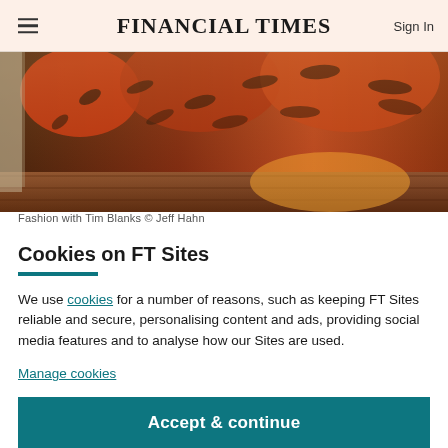FINANCIAL TIMES
[Figure (photo): Fashion photo showing a red and black patterned garment on a wooden surface with warm sunlight]
Fashion with Tim Blanks © Jeff Hahn
Cookies on FT Sites
We use cookies for a number of reasons, such as keeping FT Sites reliable and secure, personalising content and ads, providing social media features and to analyse how our Sites are used.
Manage cookies
Accept & continue